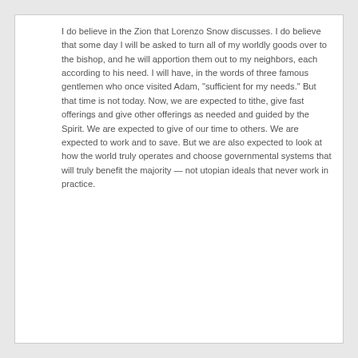I do believe in the Zion that Lorenzo Snow discusses. I do believe that some day I will be asked to turn all of my worldly goods over to the bishop, and he will apportion them out to my neighbors, each according to his need. I will have, in the words of three famous gentlemen who once visited Adam, "sufficient for my needs." But that time is not today. Now, we are expected to tithe, give fast offerings and give other offerings as needed and guided by the Spirit. We are expected to give of our time to others. We are expected to work and to save. But we are also expected to look at how the world truly operates and choose governmental systems that will truly benefit the majority — not utopian ideals that never work in practice.